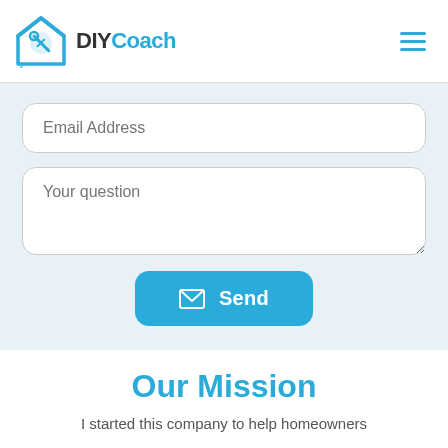[Figure (logo): DIYCoach logo: blue house icon with a wrench/tool symbol inside, followed by bold text 'DIY' in dark gray and 'Coach' in light blue]
[Figure (infographic): Hamburger menu icon (three horizontal blue lines) in the top right corner]
Email Address
Your question
Send
Our Mission
I started this company to help homeowners